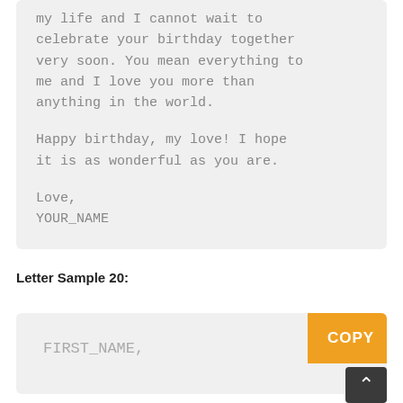I am so grateful to have you in my life and I cannot wait to celebrate your birthday together very soon. You mean everything to me and I love you more than anything in the world.

Happy birthday, my love! I hope it is as wonderful as you are.

Love,
YOUR_NAME
Letter Sample 20:
FIRST_NAME,